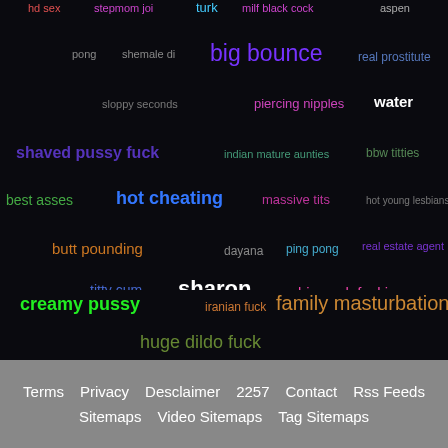[Figure (other): Tag cloud with adult-content search terms in various colors and sizes on a black background]
Terms   Privacy   Desclaimer   2257   Contact   Rss Feeds   Sitemaps   Video Sitemaps   Tag Sitemaps